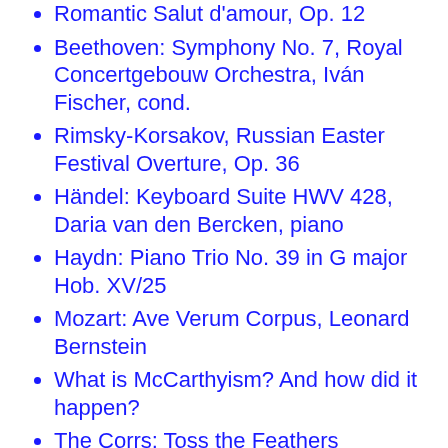Romantic Salut d'amour, Op. 12
Beethoven: Symphony No. 7, Royal Concertgebouw Orchestra, Iván Fischer, cond.
Rimsky-Korsakov, Russian Easter Festival Overture, Op. 36
Händel: Keyboard Suite HWV 428, Daria van den Bercken, piano
Haydn: Piano Trio No. 39 in G major Hob. XV/25
Mozart: Ave Verum Corpus, Leonard Bernstein
What is McCarthyism? And how did it happen?
The Corrs: Toss the Feathers
Peter Falk's Acceptance Speech for 1972